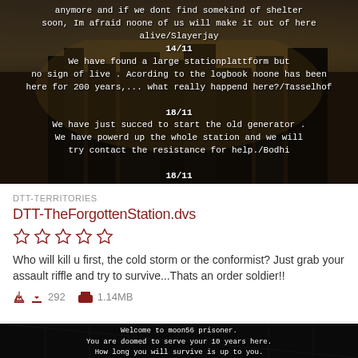[Figure (screenshot): Dark post-apocalyptic game screenshot with white monospace text diary entries showing dated log entries from characters Slayerjay, Tasselhof, Bodhi, and Tomahinsguard]
DTT-TERRITORIES
DTT-TheForgottenStation.dvs
[Figure (infographic): Five empty star rating icons in dark red/maroon color]
Who will kill u first, the cold storm or the conformist? Just grab your assault riffle and try to survive...Thats an order soldier!!
292  1.14MB
[Figure (screenshot): Dark prison game screenshot with text: Welcome to moon56 prisoner. You are doomed to serve your 10 years here. How long you will survive is up to you. Enjoy your stay.]